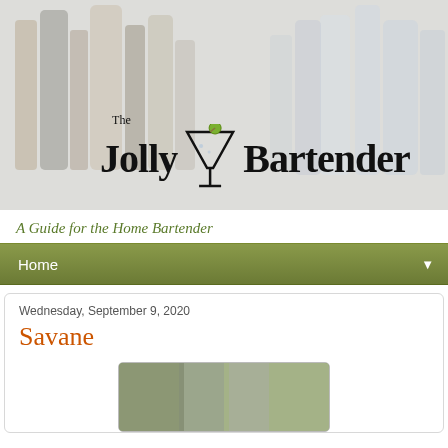[Figure (photo): Header banner photo of liquor bottles on a shelf with The Jolly Bartender logo overlaid on top]
A Guide for the Home Bartender
Home
Wednesday, September 9, 2020
Savane
[Figure (photo): Photo of a cocktail glass, partially visible at the bottom of the page]